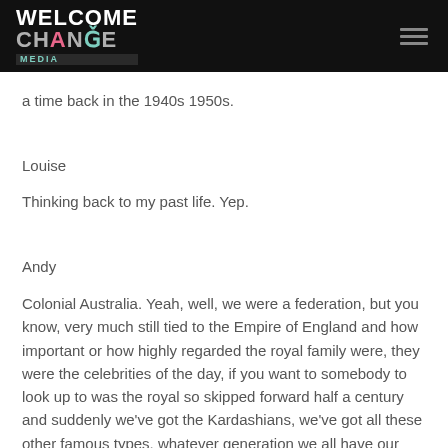WELCOME CHANGE MEDIA
a time back in the 1940s 1950s.
Louise
Thinking back to my past life. Yep.
Andy
Colonial Australia. Yeah, well, we were a federation, but you know, very much still tied to the Empire of England and how important or how highly regarded the royal family were, they were the celebrities of the day, if you want to somebody to look up to was the royal so skipped forward half a century and suddenly we've got the Kardashians, we've got all these other famous types, whatever generation we all have our own